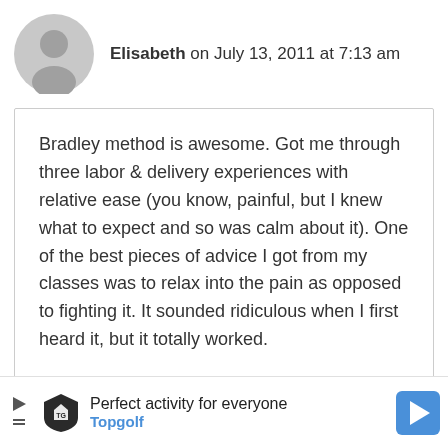Elisabeth on July 13, 2011 at 7:13 am
Bradley method is awesome. Got me through three labor & delivery experiences with relative ease (you know, painful, but I knew what to expect and so was calm about it). One of the best pieces of advice I got from my classes was to relax into the pain as opposed to fighting it. It sounded ridiculous when I first heard it, but it totally worked.
REPLY
[Figure (illustration): Ad banner for Topgolf: Play icon, Topgolf shield logo, text 'Perfect activity for everyone' and 'Topgolf', blue right-arrow navigation icon]